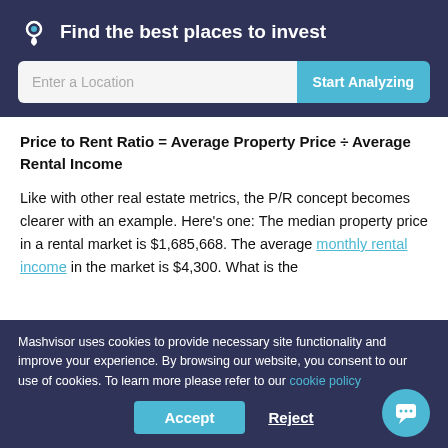Find the best places to invest
Like with other real estate metrics, the P/R concept becomes clearer with an example. Here's one: The median property price in a rental market is $1,685,668. The average monthly rental income in the market is $4,300. What is the
Mashvisor uses cookies to provide necessary site functionality and improve your experience. By browsing our website, you consent to our use of cookies. To learn more please refer to our cookie policy